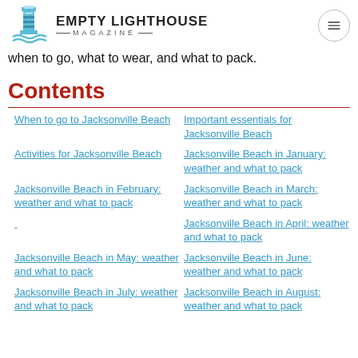EMPTY LIGHTHOUSE MAGAZINE
when to go, what to wear, and what to pack.
Contents
When to go to Jacksonville Beach
Important essentials for Jacksonville Beach
Activities for Jacksonville Beach
Jacksonville Beach in January: weather and what to pack
Jacksonville Beach in February: weather and what to pack
Jacksonville Beach in March: weather and what to pack
Jacksonville Beach in April: weather and what to pack
Jacksonville Beach in May: weather and what to pack
Jacksonville Beach in June: weather and what to pack
Jacksonville Beach in July: weather and what to pack
Jacksonville Beach in August: weather and what to pack